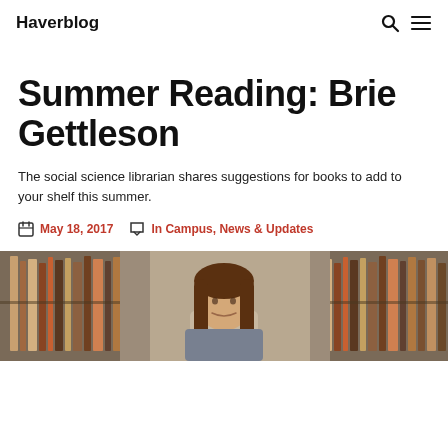Haverblog
Summer Reading: Brie Gettleson
The social science librarian shares suggestions for books to add to your shelf this summer.
May 18, 2017  In Campus, News & Updates
[Figure (photo): Photo of a woman with long brown hair standing in front of library bookshelves]